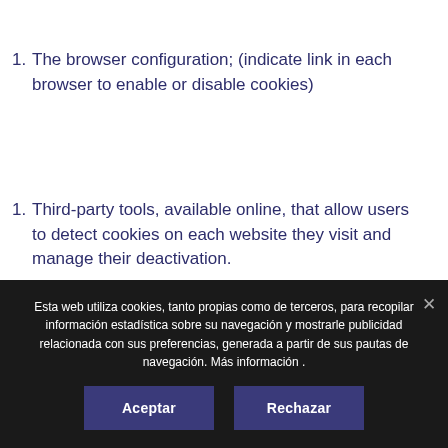The browser configuration; (indicate link in each browser to enable or disable cookies)
Third-party tools, available online, that allow users to detect cookies on each website they visit and manage their deactivation.
Esta web utiliza cookies, tanto propias como de terceros, para recopilar información estadística sobre su navegación y mostrarle publicidad relacionada con sus preferencias, generada a partir de sus pautas de navegación. Más información .